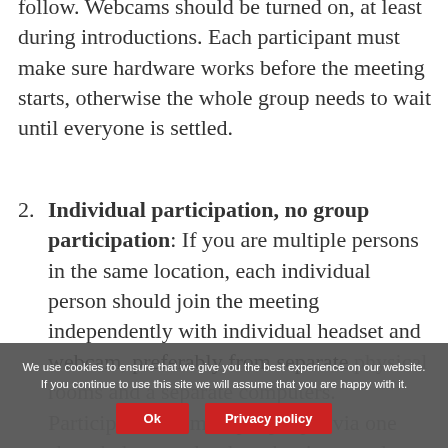follow. Webcams should be turned on, at least during introductions. Each participant must make sure hardware works before the meeting starts, otherwise the whole group needs to wait until everyone is settled.
Individual participation, no group participation: If you are multiple persons in the same location, each individual person should join the meeting independently with individual headset and webcam, preferably from separate physical rooms and a separate computers. Participation of multiple people via one shared phone or loudspeaker is strongly discouraged, as this is very often linked to poor sound
We use cookies to ensure that we give you the best experience on our website. If you continue to use this site we will assume that you are happy with it.